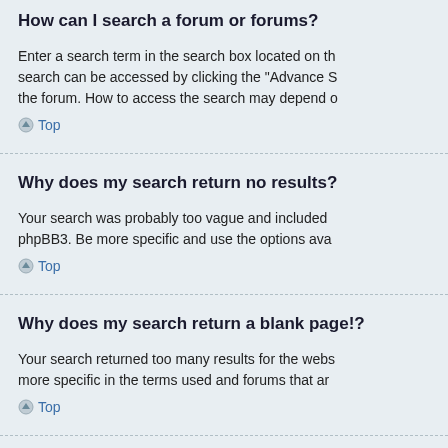How can I search a forum or forums?
Enter a search term in the search box located on th search can be accessed by clicking the “Advance S the forum. How to access the search may depend o
Top
Why does my search return no results?
Your search was probably too vague and included phpBB3. Be more specific and use the options ava
Top
Why does my search return a blank page!?
Your search returned too many results for the webs more specific in the terms used and forums that ar
Top
How do I search for members?
Visit to the “Members” page and click the “Find a m
Top
How can I find my own posts and topics?
Your own posts can be retrieved either by clicking t